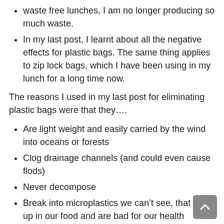waste free lunches, I am no longer producing so much waste.
In my last post, I learnt about all the negative effects for plastic bags. The same thing applies to zip lock bags, which I have been using in my lunch for a long time now.
The reasons I used in my last post for eliminating plastic bags were that they….
Are light weight and easily carried by the wind into oceans or forests
Clog drainage channels (and could even cause flods)
Never decompose
Break into microplastics we can't see, that end up in our food and are bad for our health
Are harmful to any animal that may accidently eat